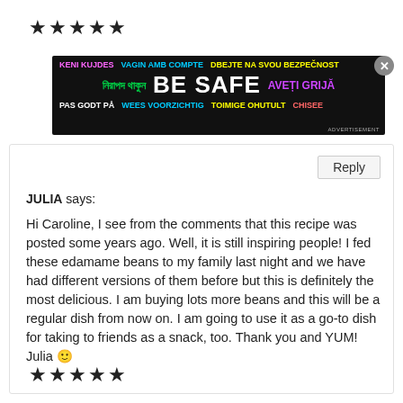★★★★★
[Figure (infographic): Advertisement banner with multilingual 'BE SAFE' message on dark background. Text includes: KENI KUJDES, VAGIN AMB COMPTE, DBEJTE NA SVOU BEZPEČNOST, নিরাপদ থাকুন, BE SAFE, AVEȚI GRIJĂ, PAS GODT PÅ, WEES VOORZICHTIG, TOIMIGE OHUTULT, and other text. Labeled ADVERTISEMENT.]
Reply
JULIA says:
Hi Caroline, I see from the comments that this recipe was posted some years ago. Well, it is still inspiring people! I fed these edamame beans to my family last night and we have had different versions of them before but this is definitely the most delicious. I am buying lots more beans and this will be a regular dish from now on. I am going to use it as a go-to dish for taking to friends as a snack, too. Thank you and YUM! Julia 🙂
★★★★★